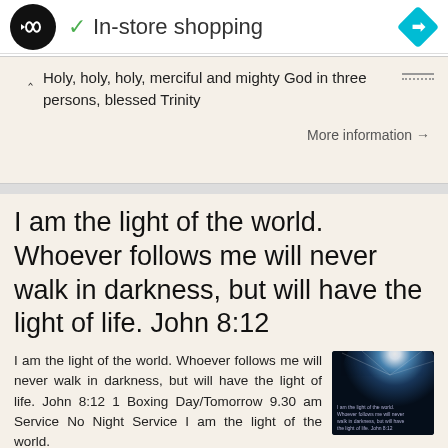[Figure (screenshot): Top navigation bar with a black circular logo with infinity-like arrows, a green checkmark and 'In-store shopping' text, and a blue diamond navigation icon on the right.]
Holy, holy, holy, merciful and mighty God in three persons, blessed Trinity
More information →
I am the light of the world. Whoever follows me will never walk in darkness, but will have the light of life. John 8:12
I am the light of the world. Whoever follows me will never walk in darkness, but will have the light of life. John 8:12 1 Boxing Day/Tomorrow 9.30 am Service No Night Service I am the light of the world.
More information →